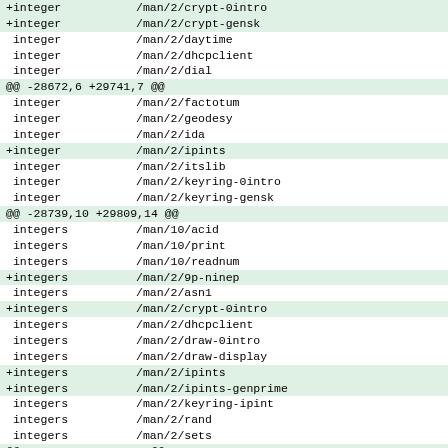diff --git showing integer/integers entries with added lines for /man/2/crypt-gensk, /man/2/ipints, /man/2/9p-ninep, /man/2/crypt-0intro, /man/2/ipints, /man/2/ipints-genprime and related man page entries
| prefix | path |
| --- | --- |
| +integer | /man/2/crypt-0intro |
| +integer | /man/2/crypt-gensk |
|  integer | /man/2/daytime |
|  integer | /man/2/dhcpclient |
|  integer | /man/2/dial |
| @@ -28672,6 +29741,7 @@ |  |
|  integer | /man/2/factotum |
|  integer | /man/2/geodesy |
|  integer | /man/2/ida |
| +integer | /man/2/ipints |
|  integer | /man/2/itslib |
|  integer | /man/2/keyring-0intro |
|  integer | /man/2/keyring-gensk |
| @@ -28739,10 +29809,14 @@ |  |
|  integers | /man/10/acid |
|  integers | /man/10/print |
|  integers | /man/10/readnum |
| +integers | /man/2/9p-ninep |
|  integers | /man/2/asn1 |
| +integers | /man/2/crypt-0intro |
|  integers | /man/2/dhcpclient |
|  integers | /man/2/draw-0intro |
|  integers | /man/2/draw-display |
| +integers | /man/2/ipints |
| +integers | /man/2/ipints-genprime |
|  integers | /man/2/keyring-ipint |
|  integers | /man/2/rand |
|  integers | /man/2/sets |
| @@ -28757,6 +29831,7 @@ |  |
|  integers | /man/6/colour |
|  integers | /man/6/di... |